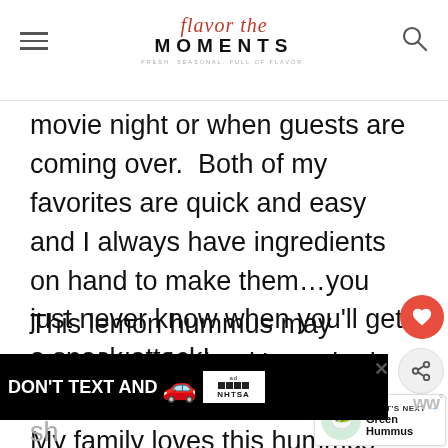Flavor the Moments — FRESH. SEASONAL. FULL OF FLAVOR.
movie night or when guests are coming over.  Both of my favorites are quick and easy and I always have ingredients on hand to make them…you just never know when you'll get a snack attack!
This lemon hummus may sound simple, but it's packed with amazing fresh flavor.  My family loves this hummus and feel great about serving it because it's so healthy.  My boys h... devour this platter for lunch after my photo sh...
[Figure (other): DON'T TEXT AND DRIVE ad banner with car emoji, ad label, and NHTSA logo]
su...